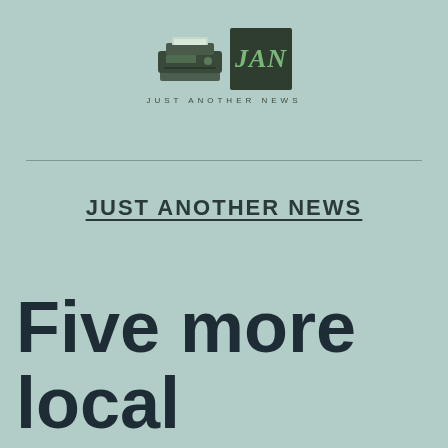[Figure (logo): Just Another News logo with printer icon and JAN in green on dark green square, with tagline JUST ANOTHER NEWS below]
JUST ANOTHER NEWS
Five more local counties